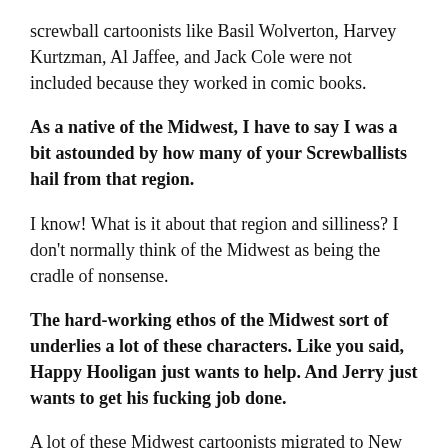screwball cartoonists like Basil Wolverton, Harvey Kurtzman, Al Jaffee, and Jack Cole were not included because they worked in comic books.
As a native of the Midwest, I have to say I was a bit astounded by how many of your Screwballists hail from that region.
I know! What is it about that region and silliness? I don't normally think of the Midwest as being the cradle of nonsense.
The hard-working ethos of the Midwest sort of underlies a lot of these characters. Like you said, Happy Hooligan just wants to help. And Jerry just wants to get his fucking job done.
A lot of these Midwest cartoonists migrated to New York to establish their careers. But once they had ...